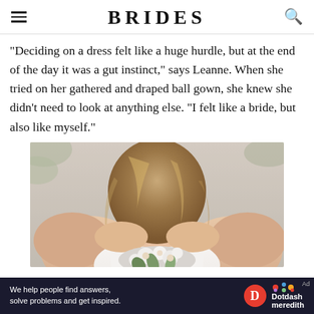BRIDES
"Deciding on a dress felt like a huge hurdle, but at the end of the day it was a gut instinct," says Leanne. When she tried on her gathered and draped ball gown, she knew she didn't need to look at anything else. "I felt like a bride, but also like myself."
[Figure (photo): Close-up photo of a bride holding a white floral bouquet with eucalyptus greenery, wearing a white strapless gown, with wavy blonde hair.]
We help people find answers, solve problems and get inspired.